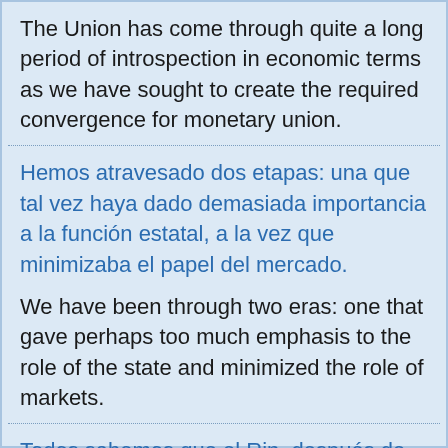The Union has come through quite a long period of introspection in economic terms as we have sought to create the required convergence for monetary union.
Hemos atravesado dos etapas: una que tal vez haya dado demasiada importancia a la función estatal, a la vez que minimizaba el papel del mercado.
We have been through two eras: one that gave perhaps too much emphasis to the role of the state and minimized the role of markets.
Todos sabemos que el Rin, después de haber atravesado Suiza, Francia, Alemania y los Países Bajos, desemboca en el Mar del Norte.